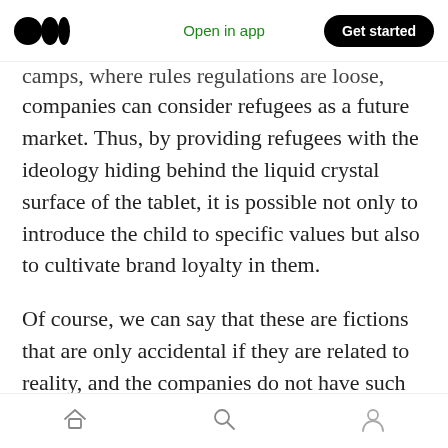Medium logo | Open in app | Get started
camps, where rules regulations are loose, companies can consider refugees as a future market. Thus, by providing refugees with the ideology hiding behind the liquid crystal surface of the tablet, it is possible not only to introduce the child to specific values but also to cultivate brand loyalty in them.
Of course, we can say that these are fictions that are only accidental if they are related to reality, and the companies do not have such selfish motives. In response to this skepticism, I will quote some representatives of commercial
Home | Search | Profile